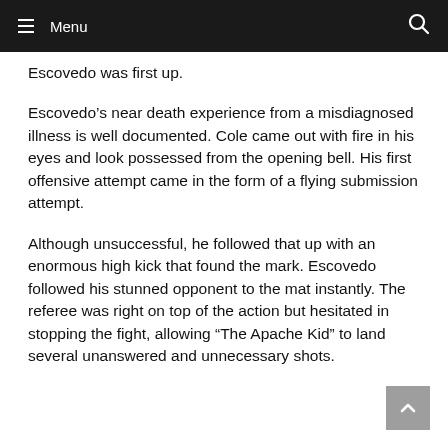Menu
Escovedo was first up.
Escovedo’s near death experience from a misdiagnosed illness is well documented. Cole came out with fire in his eyes and look possessed from the opening bell. His first offensive attempt came in the form of a flying submission attempt.
Although unsuccessful, he followed that up with an enormous high kick that found the mark. Escovedo followed his stunned opponent to the mat instantly. The referee was right on top of the action but hesitated in stopping the fight, allowing “The Apache Kid” to land several unanswered and unnecessary shots.